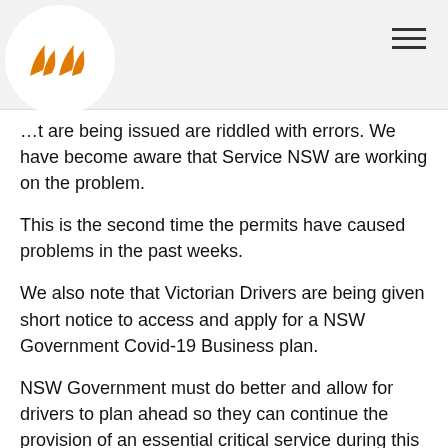[Figure (logo): Orange logo icons (two stylized mountain/flame shapes) inside a white circle on a light grey header bar with hamburger menu icon on the right]
…t are being issued are riddled with errors. We have become aware that Service NSW are working on the problem.
This is the second time the permits have caused problems in the past weeks.
We also note that Victorian Drivers are being given short notice to access and apply for a NSW Government Covid-19 Business plan.
NSW Government must do better and allow for drivers to plan ahead so they can continue the provision of an essential critical service during this pandemic.
They are delivering food, fuel and medicines. They are keeping the economy and businesses open by distributing goods across Australia.